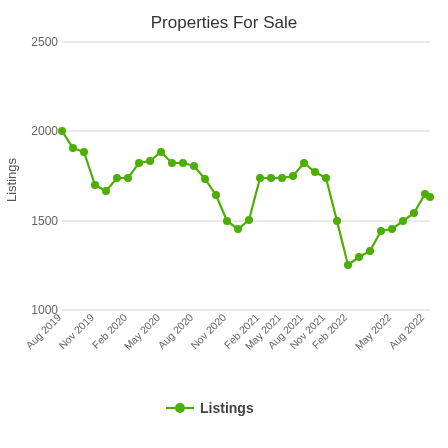[Figure (line-chart): Properties For Sale]